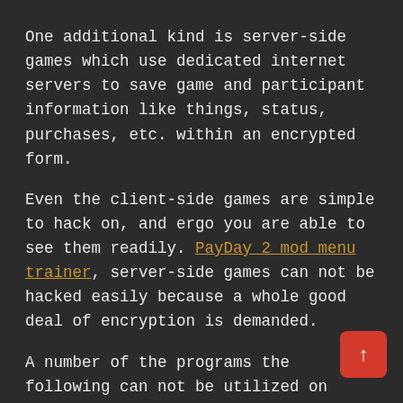One additional kind is server-side games which use dedicated internet servers to save game and participant information like things, status, purchases, etc. within an encrypted form.
Even the client-side games are simple to hack on, and ergo you are able to see them readily. PayDay 2 mod menu trainer, server-side games can not be hacked easily because a whole good deal of encryption is demanded.
A number of the programs the following can not be utilized on server-side games. As an alternative, they tweak together using the machine Memory of those games, which really allows you to access unlimited resources of gold, coins, rankings, unlocks, plus even